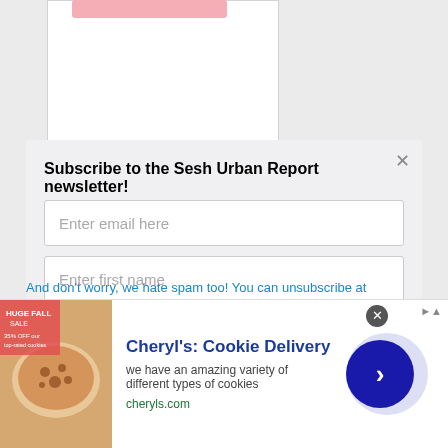Subscribe to the Sesh Urban Report newsletter!
Enter email here
Enter first name
Subscribe
And don't worry, we hate spam too! You can unsubscribe at
[Figure (screenshot): Advertisement banner for Cheryl's Cookie Delivery showing cookie image, ad title, body text, URL, and navigation arrow]
Cheryl's: Cookie Delivery
we have an amazing variety of different types of cookies
cheryls.com